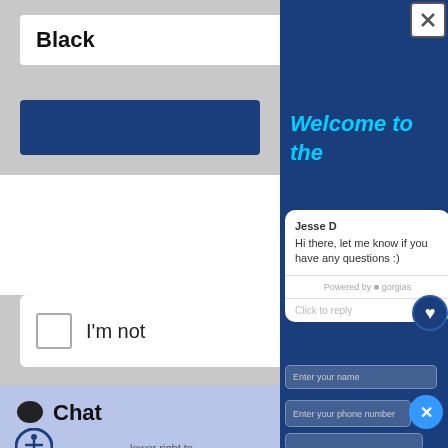[Figure (screenshot): Screenshot of a website/app showing a live chat widget overlay on a webpage. Left side shows a partial webpage with a 'Black' label input, a blue button, a CAPTCHA checkbox area, and a chat/accessibility section. Right side shows a Gorgias-powered chat popup with 'Welcome to the' heading, a message from Jesse D saying 'Hi there, let me know if you have any questions :)', powered by gorgias, a 'Click to reply' field, 'Enter your name' and 'Enter your phone number' input fields, and a blue close button. A close (X) button appears in the top right corner.]